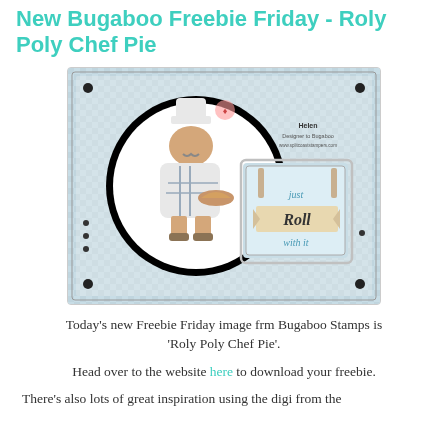New Bugaboo Freebie Friday - Roly Poly Chef Pie
[Figure (photo): A handmade greeting card featuring a roly poly chef character holding a pie inside a large black circle on a blue gingham patterned background. A separate tag reads 'just Roll with it' with rolling pin decorations. Card has corner embellishments.]
Today's new Freebie Friday image frm Bugaboo Stamps is 'Roly Poly Chef Pie'.
Head over to the website here to download your freebie.
There's also lots of great inspiration using the digi from the